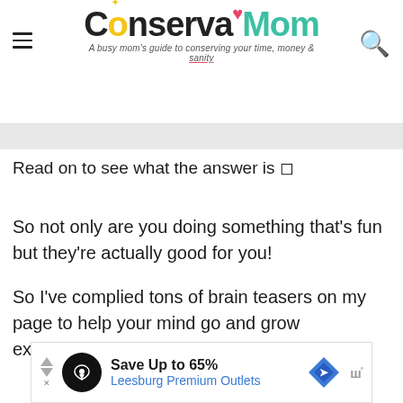ConservaMom — A busy mom's guide to conserving your time, money & sanity
Read on to see what the answer is 🙂
So not only are you doing something that's fun but they're actually good for you!
So I've complied tons of brain teasers on my page to help your mind go and grow exponentially.
[Figure (other): Advertisement banner: Save Up to 65% Leesburg Premium Outlets]